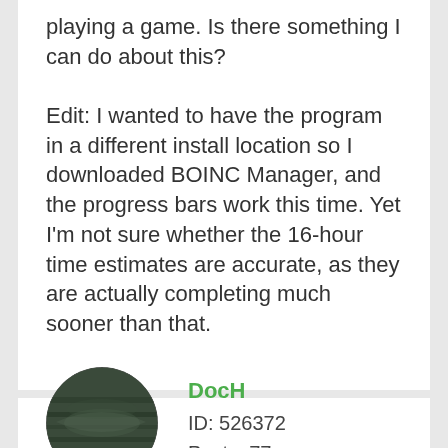playing a game. Is there something I can do about this?

Edit: I wanted to have the program in a different install location so I downloaded BOINC Manager, and the progress bars work this time. Yet I'm not sure whether the 16-hour time estimates are accurate, as they are actually completing much sooner than that.
DocH
ID: 526372
Posts: 77